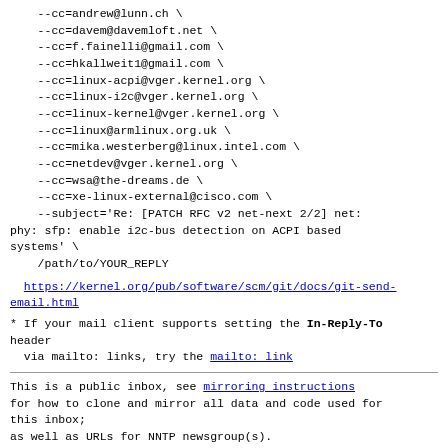--cc=andrew@lunn.ch \
    --cc=davem@davemloft.net \
    --cc=f.fainelli@gmail.com \
    --cc=hkallweit1@gmail.com \
    --cc=linux-acpi@vger.kernel.org \
    --cc=linux-i2c@vger.kernel.org \
    --cc=linux-kernel@vger.kernel.org \
    --cc=linux@armlinux.org.uk \
    --cc=mika.westerberg@linux.intel.com \
    --cc=netdev@vger.kernel.org \
    --cc=wsa@the-dreams.de \
    --cc=xe-linux-external@cisco.com \
    --subject='Re: [PATCH RFC v2 net-next 2/2] net: phy: sfp: enable i2c-bus detection on ACPI based systems' \
    /path/to/YOUR_REPLY
https://kernel.org/pub/software/scm/git/docs/git-send-email.html
* If your mail client supports setting the In-Reply-To header
  via mailto: links, try the mailto: link
This is a public inbox, see mirroring instructions
for how to clone and mirror all data and code used for this inbox;
as well as URLs for NNTP newsgroup(s).